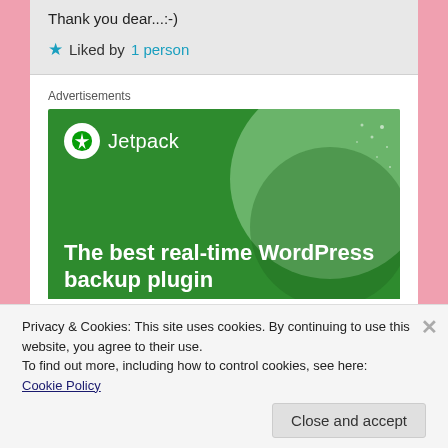Thank you dear...:-)
★ Liked by 1 person
Advertisements
[Figure (illustration): Jetpack WordPress plugin advertisement banner. Green background with large light-green circle decorative element, white Jetpack logo (lightning bolt in circle) and 'Jetpack' text in header. Main text: 'The best real-time WordPress backup plugin'. White button at bottom reads 'Back up your site' in green text.]
Privacy & Cookies: This site uses cookies. By continuing to use this website, you agree to their use.
To find out more, including how to control cookies, see here:
Cookie Policy
Close and accept